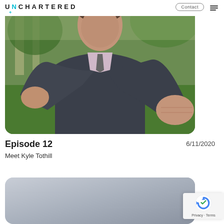UNCHARTED
[Figure (photo): Man in dark business suit with fists raised toward camera in a casual outdoor setting with greenery in background]
Episode 12
Meet Kyle Tothill
6/11/2020
[Figure (photo): Partial view of a second episode card with blue-grey gradient background]